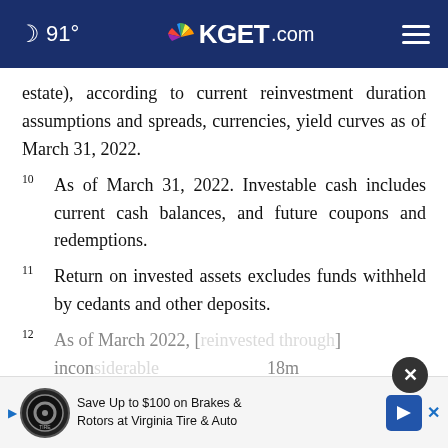91° KGET.com
estate), according to current reinvestment duration assumptions and spreads, currencies, yield curves as of March 31, 2022.
10  As of March 31, 2022. Investable cash includes current cash balances, and future coupons and redemptions.
11  Return on invested assets excludes funds withheld by cedants and other deposits.
12  As of March 31, 2022, [partially obscured] through incon[partially obscured] 18m